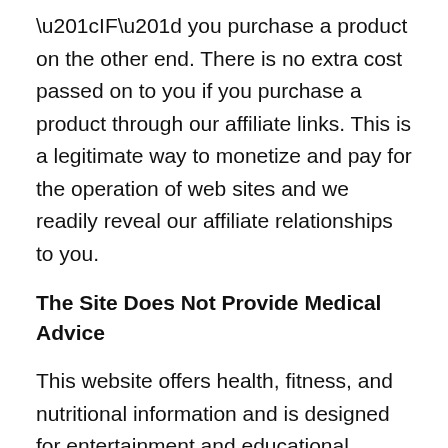“IF” you purchase a product on the other end. There is no extra cost passed on to you if you purchase a product through our affiliate links. This is a legitimate way to monetize and pay for the operation of web sites and we readily reveal our affiliate relationships to you.
The Site Does Not Provide Medical Advice
This website offers health, fitness, and nutritional information and is designed for entertainment and educational purposes only. You should not rely on this information as a substitute for, nor does it replace, professional medical advice, diagnosis, or